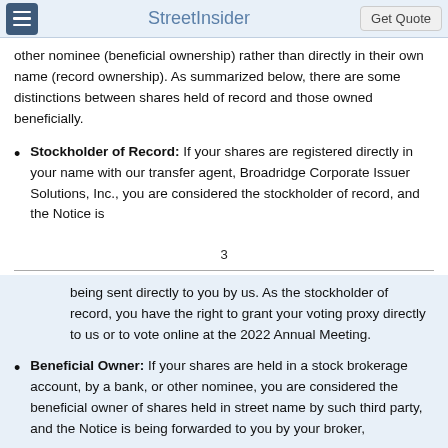StreetInsider | Get Quote
other nominee (beneficial ownership) rather than directly in their own name (record ownership). As summarized below, there are some distinctions between shares held of record and those owned beneficially.
Stockholder of Record: If your shares are registered directly in your name with our transfer agent, Broadridge Corporate Issuer Solutions, Inc., you are considered the stockholder of record, and the Notice is
3
being sent directly to you by us. As the stockholder of record, you have the right to grant your voting proxy directly to us or to vote online at the 2022 Annual Meeting.
Beneficial Owner: If your shares are held in a stock brokerage account, by a bank, or other nominee, you are considered the beneficial owner of shares held in street name by such third party, and the Notice is being forwarded to you by your broker,